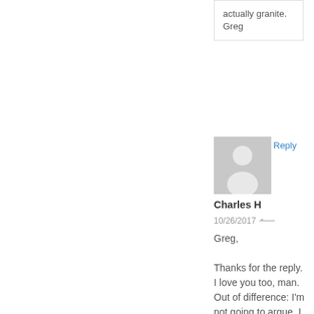actually granite.
Greg
Reply
[Figure (illustration): Generic user avatar placeholder - gray silhouette of a person on gray background]
Charles H
10/26/2017  •
Greg,

Thanks for the reply. I love you too, man. Out of difference: I'm not going to argue. I think Arthur makes a legitimate point; and JC Davis backs him up. I